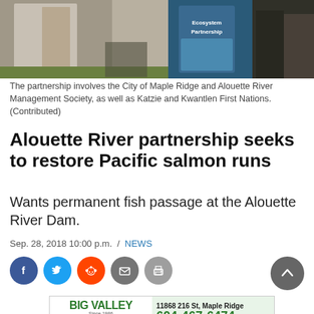[Figure (photo): Outdoor event photo showing people standing near a banner that reads 'Ecosystem Partnership', with trees and grass in background.]
The partnership involves the City of Maple Ridge and Alouette River Management Society, as well as Katzie and Kwantlen First Nations. (Contributed)
Alouette River partnership seeks to restore Pacific salmon runs
Wants permanent fish passage at the Alouette River Dam.
Sep. 28, 2018 10:00 p.m.  /  NEWS
[Figure (other): Social sharing buttons: Facebook, Twitter, Reddit, Email, Print; and a scroll-to-top button]
[Figure (other): Advertisement for Big Valley Heating and Air Conditioning. Address: 11868 216 St, Maple Ridge. Phone: 604-467-6474. Amana brand logo.]